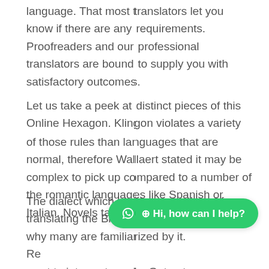language. That most translators let you know if there are any requirements. Proofreaders and our professional translators are bound to supply you with satisfactory outcomes.
Let us take a peek at distinct pieces of this Online Hexagon. Klingon violates a variety of those rules than languages that are normal, therefore Wallaert stated it may be complex to pick up compared to a number of the romantic languages like Spanish or Italian. Novels take a lot longer.
The dialect which has been employed for translating the Bible was Akuapem, which is why many are familiarized by it. Re… want to interpret words. Get out your translator to